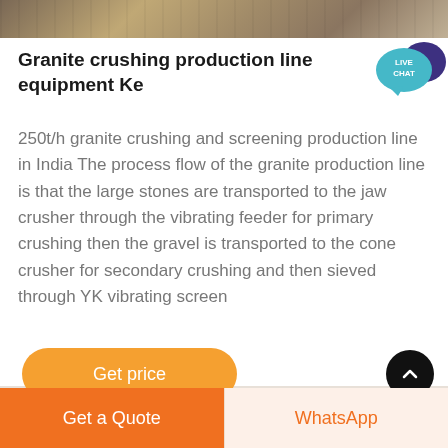[Figure (photo): Partial photo of granite crushing equipment or machinery at the top of the page]
Granite crushing production line equipment Ke[r]
250t/h granite crushing and screening production line in India The process flow of the granite production line is that the large stones are transported to the jaw crusher through the vibrating feeder for primary crushing then the gravel is transported to the cone crusher for secondary crushing and then sieved through YK vibrating screen
[Figure (other): Orange Get price button]
[Figure (other): Black circular scroll-to-top button with upward chevron]
Get a Quote | WhatsApp